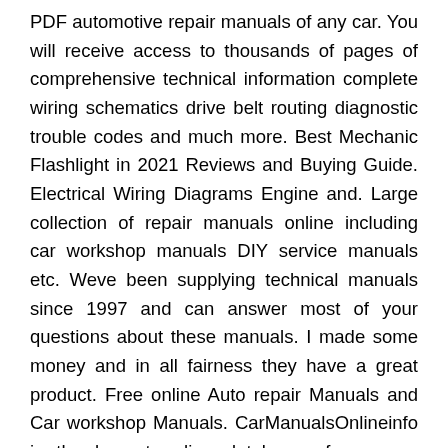PDF automotive repair manuals of any car. You will receive access to thousands of pages of comprehensive technical information complete wiring schematics drive belt routing diagnostic trouble codes and much more. Best Mechanic Flashlight in 2021 Reviews and Buying Guide. Electrical Wiring Diagrams Engine and. Large collection of repair manuals online including car workshop manuals DIY service manuals etc. Weve been supplying technical manuals since 1997 and can answer most of your questions about these manuals. I made some money and in all fairness they have a great product. Free online Auto repair Manuals and Car workshop Manuals. CarManualsOnlineinfo is the largest online database of car user manuals. It can be either an auto repair manual or a maintenance manual a car book an auto operation book or an operation manual or a parts catalogue of the car you are interested in as well as a training manual an encyclopedia or an